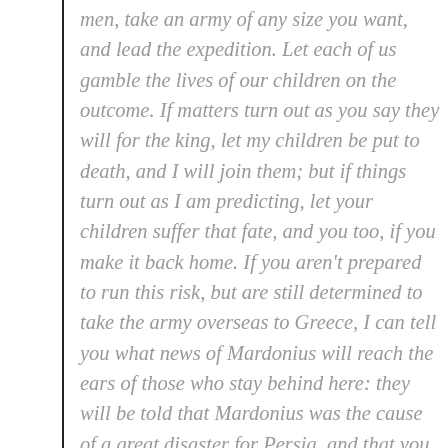men, take an army of any size you want, and lead the expedition. Let each of us gamble the lives of our children on the outcome. If matters turn out as you say they will for the king, let my children be put to death, and I will join them; but if things turn out as I am predicting, let your children suffer that fate, and you too, if you make it back home. If you aren't prepared to run this risk, but are still determined to take the army overseas to Greece, I can tell you what news of Mardonius will reach the ears of those who stay behind here: they will be told that Mardonius was the cause of a great disaster for Persia, and that you were